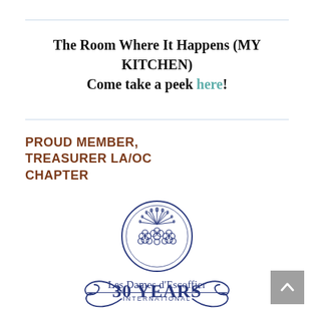The Room Where It Happens (MY KITCHEN) Come take a peek here!
PROUD MEMBER, TREASURER LA/OC CHAPTER
[Figure (logo): Les Dames d'Escoffier International logo — circular emblem with floral/wheat motif above text 'Les Dames d'Escoffier' and 'INTERNATIONAL', followed by '30 YEARS' with decorative scroll]
[Figure (other): Back to top arrow button (grey square with upward chevron)]